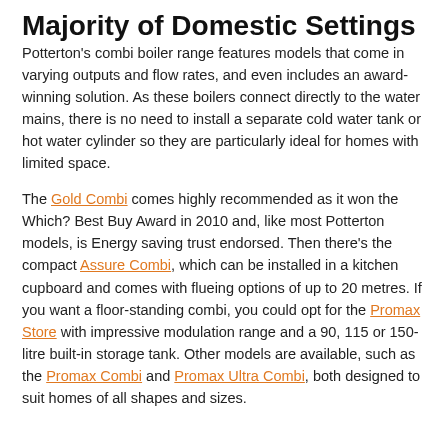Majority of Domestic Settings
Potterton's combi boiler range features models that come in varying outputs and flow rates, and even includes an award-winning solution. As these boilers connect directly to the water mains, there is no need to install a separate cold water tank or hot water cylinder so they are particularly ideal for homes with limited space.
The Gold Combi comes highly recommended as it won the Which? Best Buy Award in 2010 and, like most Potterton models, is Energy saving trust endorsed. Then there's the compact Assure Combi, which can be installed in a kitchen cupboard and comes with flueing options of up to 20 metres. If you want a floor-standing combi, you could opt for the Promax Store with impressive modulation range and a 90, 115 or 150-litre built-in storage tank. Other models are available, such as the Promax Combi and Promax Ultra Combi, both designed to suit homes of all shapes and sizes.